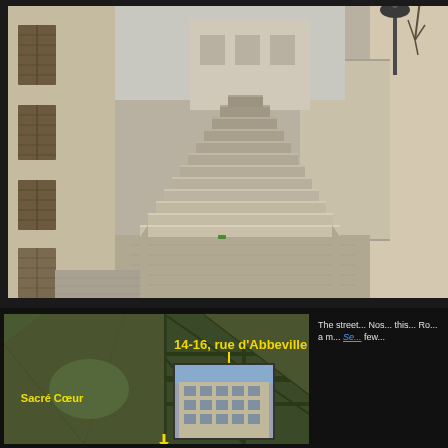[Figure (photo): A narrow Parisian street with limestone buildings on the left bearing wooden shutters and ornate architectural details, and a wide stone staircase ascending in the center-background. A classical iron street lamp stands at the top of the stairs. The scene is quiet and deserted.]
[Figure (map): Aerial/satellite map of Paris showing the area around Sacré Cœur and rue d'Abbeville. Labels in yellow read '14-16, rue d'Abbeville' and 'Sacré Cœur'. An inset photo shows a Haussmann-style building at 14-16 rue d'Abbeville.]
The street... Nos... this... Ro... a m... Se... few...